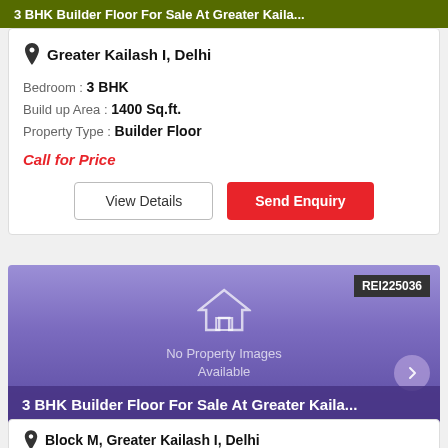3 BHK Builder Floor For Sale At Greater Kaila...
Greater Kailash I, Delhi
Bedroom : 3 BHK
Build up Area : 1400 Sq.ft.
Property Type : Builder Floor
Call for Price
View Details
Send Enquiry
[Figure (screenshot): Property listing image placeholder with purple gradient background, house icon, 'No Property Images Available' text, and REI225036 tag]
3 BHK Builder Floor For Sale At Greater Kaila...
Block M, Greater Kailash I, Delhi